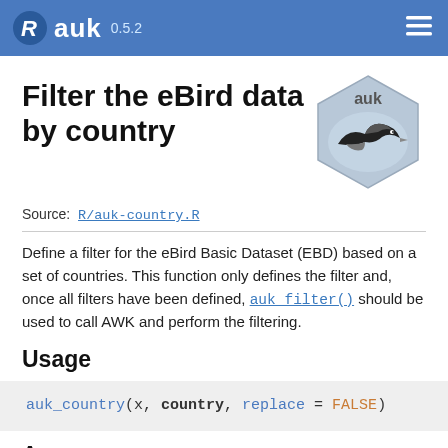auk 0.5.2
Filter the eBird data by country
[Figure (logo): auk R package hex sticker logo with a flying seabird (auk)]
Source: R/auk-country.R
Define a filter for the eBird Basic Dataset (EBD) based on a set of countries. This function only defines the filter and, once all filters have been defined, auk_filter() should be used to call AWK and perform the filtering.
Usage